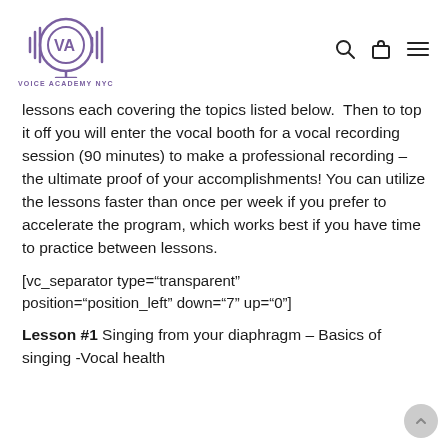VOICE ACADEMY NYC
lessons each covering the topics listed below.  Then to top it off you will enter the vocal booth for a vocal recording session (90 minutes) to make a professional recording – the ultimate proof of your accomplishments! You can utilize the lessons faster than once per week if you prefer to accelerate the program, which works best if you have time to practice between lessons.
[vc_separator type="transparent" position="position_left" down="7" up="0"]
Lesson #1 Singing from your diaphragm – Basics of singing -Vocal health